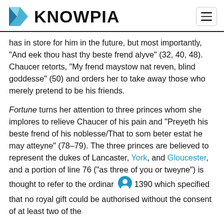KNOWPIA
has in store for him in the future, but most importantly, "And eek thou hast thy beste frend alyve" (32, 40, 48). Chaucer retorts, "My frend maystow nat reven, blind goddesse" (50) and orders her to take away those who merely pretend to be his friends.
Fortune turns her attention to three princes whom she implores to relieve Chaucer of his pain and "Preyeth his beste frend of his noblesse/That to som beter estat he may atteyne" (78–79). The three princes are believed to represent the dukes of Lancaster, York, and Gloucester, and a portion of line 76 ("as three of you or tweyne") is thought to refer to the ordinar 1390 which specified that no royal gift could be authorised without the consent of at least two of the